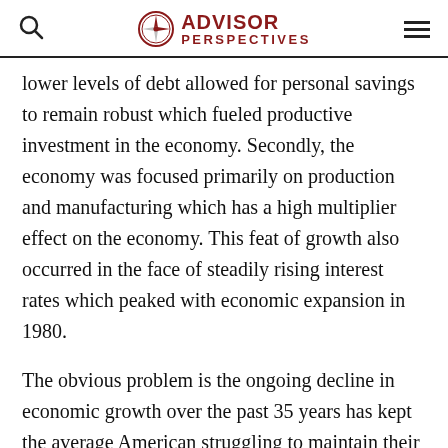ADVISOR PERSPECTIVES
lower levels of debt allowed for personal savings to remain robust which fueled productive investment in the economy. Secondly, the economy was focused primarily on production and manufacturing which has a high multiplier effect on the economy. This feat of growth also occurred in the face of steadily rising interest rates which peaked with economic expansion in 1980.
The obvious problem is the ongoing decline in economic growth over the past 35 years has kept the average American struggling to maintain their standard of living. As wage growth stagnates or